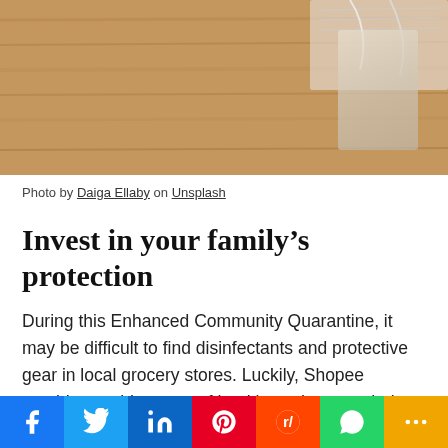[Figure (photo): Photo of face masks or cloth items on a wooden surface]
Photo by Daiga Ellaby on Unsplash
Invest in your family's protection
During this Enhanced Community Quarantine, it may be difficult to find disinfectants and protective gear in local grocery stores. Luckily, Shopee provides a wide range of health products on their Flash Deals and branded collections including face masks, hand sanitizers, alcohol, and anti-bacterial cleaners. Not